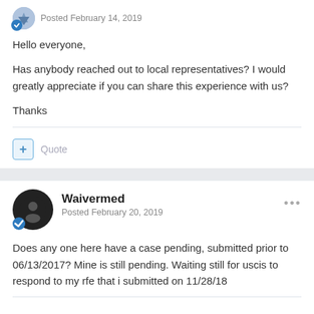Posted February 14, 2019
Hello everyone,
Has anybody reached out to local representatives? I would greatly appreciate if you can share this experience with us?
Thanks
+ Quote
Waivermed
Posted February 20, 2019
Does any one here have a case pending, submitted prior to 06/13/2017? Mine is still pending. Waiting still for uscis to respond to my rfe that i submitted on 11/28/18